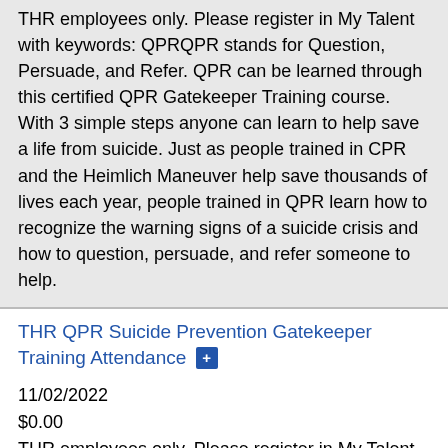THR employees only. Please register in My Talent with keywords: QPRQPR stands for Question, Persuade, and Refer. QPR can be learned through this certified QPR Gatekeeper Training course. With 3 simple steps anyone can learn to help save a life from suicide. Just as people trained in CPR and the Heimlich Maneuver help save thousands of lives each year, people trained in QPR learn how to recognize the warning signs of a suicide crisis and how to question, persuade, and refer someone to help.
THR QPR Suicide Prevention Gatekeeper Training Attendance +
11/02/2022
$0.00
THR employees only. Please register in My Talent with keywords: QPRQPR stands for Question, Persuade, and Refer. QPR can be learned through this certified QPR Gatekeeper Training course. With 3 simple steps anyone can learn to help save a life from suicide. Just as people trained in CPR and the Heimlich Maneuver help save thousands of lives each year, people trained in QPR learn how to recognize the warning signs of a suicide crisis and